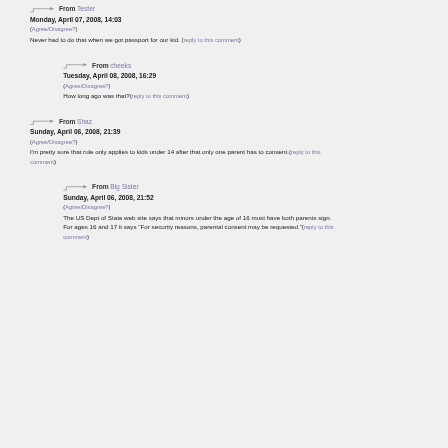↳ From Tester
Monday, April 07, 2008, 14:03
(Agree/Disagree?)
Never had to do that when we got passport for our kid. (reply to this comment)
↳ From cheeks
Tuesday, April 08, 2008, 16:29
(Agree/Disagree?)
How long ago was that?(reply to this comment)
↳ From Shaz
Sunday, April 06, 2008, 21:39
(Agree/Disagree?)
I'm pretty sure that rule only applies to kids under 14 after that only one parent has to consent.(reply to this comment)
↳ From Big Sister
Sunday, April 06, 2008, 21:52
(Agree/Disagree?)
The US Dept of State web site says that minors under the age of 16 must have both parents sign. For ages 16 and 17 it says "For security reasons, parental consent may be requested."(reply to this comment)